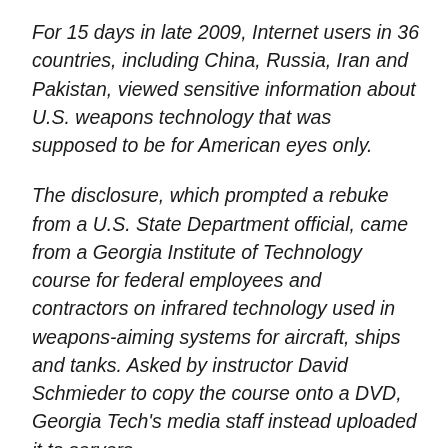For 15 days in late 2009, Internet users in 36 countries, including China, Russia, Iran and Pakistan, viewed sensitive information about U.S. weapons technology that was supposed to be for American eyes only.
The disclosure, which prompted a rebuke from a U.S. State Department official, came from a Georgia Institute of Technology course for federal employees and contractors on infrared technology used in weapons-aiming systems for aircraft, ships and tanks. Asked by instructor David Schmieder to copy the course onto a DVD, Georgia Tech's media staff instead uploaded it to servers.
The lapse by Atlanta-based Georgia Tech illustrates how colleges and federal arms-control regulators are often lax in enforcing Americans-only limits intended to prevent theft of military technology from U.S. campuses. Even as they